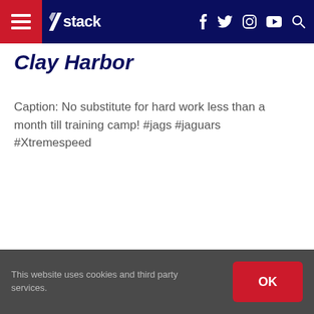stack [navigation bar with hamburger menu, logo, social icons: f, twitter, instagram, youtube, search]
Clay Harbor
Caption: No substitute for hard work less than a month till training camp! #jags #jaguars #Xtremespeed
This website uses cookies and third party services.